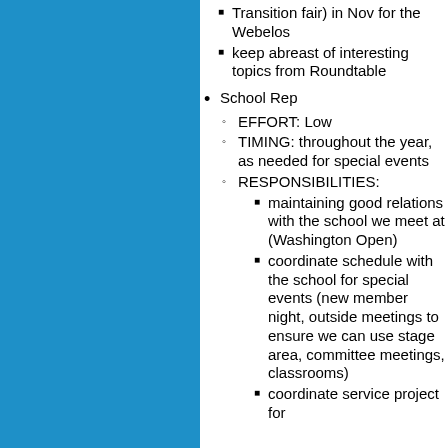Transition fair) in Nov for the Webelos
keep abreast of interesting topics from Roundtable
School Rep
EFFORT: Low
TIMING: throughout the year, as needed for special events
RESPONSIBILITIES:
maintaining good relations with the school we meet at (Washington Open)
coordinate schedule with the school for special events (new member night, outside meetings to ensure we can use stage area, committee meetings, classrooms)
coordinate service project for